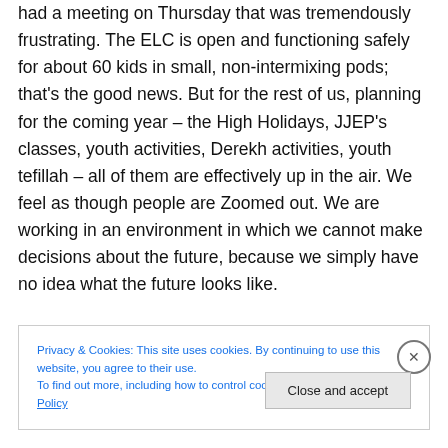had a meeting on Thursday that was tremendously frustrating. The ELC is open and functioning safely for about 60 kids in small, non-intermixing pods; that's the good news. But for the rest of us, planning for the coming year – the High Holidays, JJEP's classes, youth activities, Derekh activities, youth tefillah – all of them are effectively up in the air. We feel as though people are Zoomed out. We are working in an environment in which we cannot make decisions about the future, because we simply have no idea what the future looks like.
Privacy & Cookies: This site uses cookies. By continuing to use this website, you agree to their use. To find out more, including how to control cookies, see here: Cookie Policy